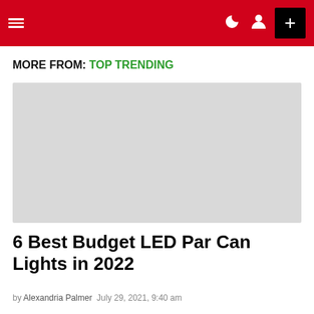≡ ☽ 👤 +
MORE FROM: TOP TRENDING
[Figure (photo): Placeholder image (light gray rectangle) for article about 6 Best Budget LED Par Can Lights in 2022]
6 Best Budget LED Par Can Lights in 2022
by Alexandria Palmer  July 29, 2021, 9:40 am